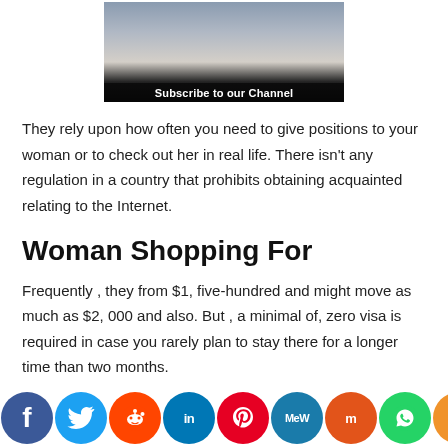[Figure (screenshot): Video thumbnail showing people in a room with overlay text 'Subscribe to our Channel']
They rely upon how often you need to give positions to your woman or to check out her in real life. There isn't any regulation in a country that prohibits obtaining acquainted relating to the Internet.
Woman Shopping For
Frequently , they from $1, five-hundred and might move as much as $2, 000 and also. But , a minimal of, zero visa is required in case you rarely plan to stay there for a longer time than two months.
[Figure (infographic): Social media sharing icons bar: Facebook, Twitter, Reddit, LinkedIn, Pinterest, MeWe, Mix, WhatsApp, Share]